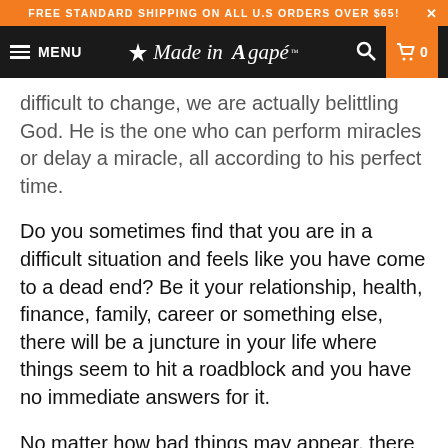FREE STANDARD SHIPPING ON ALL U.S ORDERS OVER $65! ×
MENU | Made in Agapé™ | 🔍 | 🛒 0
difficult to change, we are actually belittling God. He is the one who can perform miracles or delay a miracle, all according to his perfect time.
Do you sometimes find that you are in a difficult situation and feels like you have come to a dead end? Be it your relationship, health, finance, family, career or something else, there will be a juncture in your life where things seem to hit a roadblock and you have no immediate answers for it.
No matter how bad things may appear, there is always hope in God. He can change situations however and whenever he wants, so nothing is impossible with God. But at that moment where things aren't going the way that we wished for, what he wants from us is a pure heart that